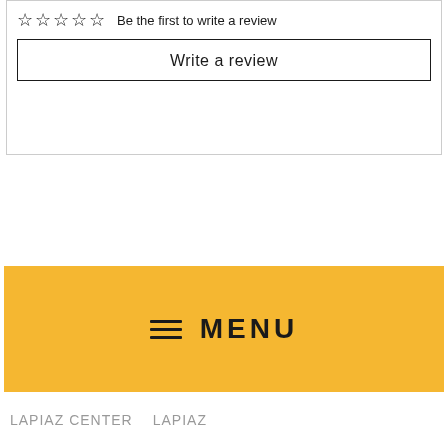☆☆☆☆☆ Be the first to write a review
Write a review
Save 46%
≡ MENU
LAPIAZ CENTER   LAPIAZ